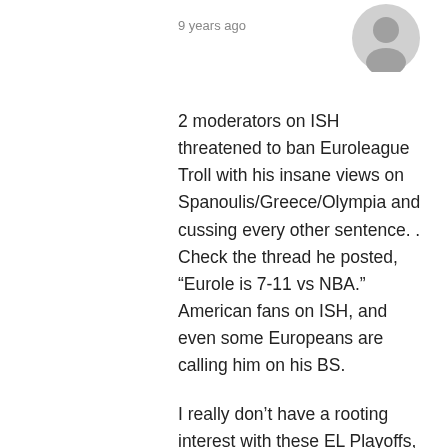9 years ago
[Figure (illustration): Generic grey user avatar icon (circle with person silhouette)]
2 moderators on ISH threatened to ban Euroleague Troll with his insane views on Spanoulis/Greece/Olympia and cussing every other sentence. . Check the thread he posted, “Eurole is 7-11 vs NBA.” American fans on ISH, and even some Europeans are calling him on his BS.
I really don’t have a rooting interest with these EL Playoffs, so I don’t know what you’re talking about me predicting anything. I think Spanoulis could win again. Sure, why not? After all, it’s just NBA bench player Farmar we’re talking